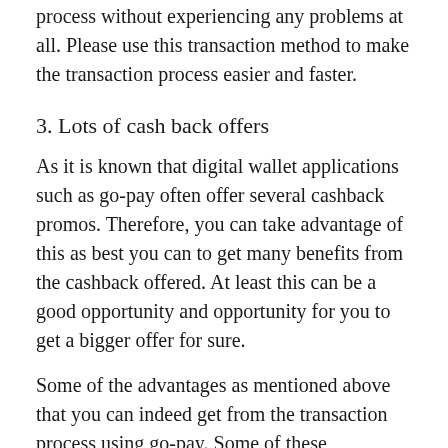process without experiencing any problems at all. Please use this transaction method to make the transaction process easier and faster.
3. Lots of cash back offers
As it is known that digital wallet applications such as go-pay often offer several cashback promos. Therefore, you can take advantage of this as best you can to get many benefits from the cashback offered. At least this can be a good opportunity and opportunity for you to get a bigger offer for sure.
Some of the advantages as mentioned above that you can indeed get from the transaction process using go-pay. Some of these conveniences certainly make it easier for us as players to be able to carry out the transaction